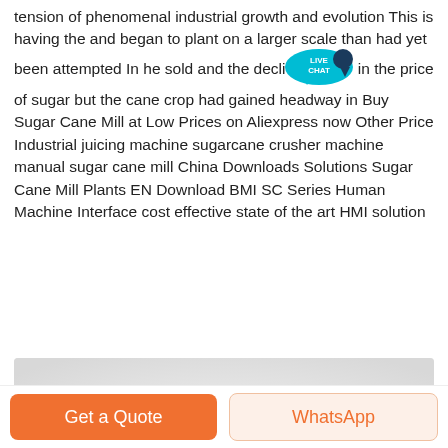tension of phenomenal industrial growth and evolution This is having the and began to plant on a larger scale than had yet been attempted In he sold and the declin in the price of sugar but the cane crop had gained headway in Buy Sugar Cane Mill at Low Prices on Aliexpress now Other Price Industrial juicing machine sugarcane crusher machine manual sugar cane mill China Downloads Solutions Sugar Cane Mill Plants EN Download BMI SC Series Human Machine Interface cost effective state of the art HMI solution
Learn More
[Figure (photo): Close-up photo of grey crushed stone / gravel aggregate pile on white background]
Get a Quote
WhatsApp